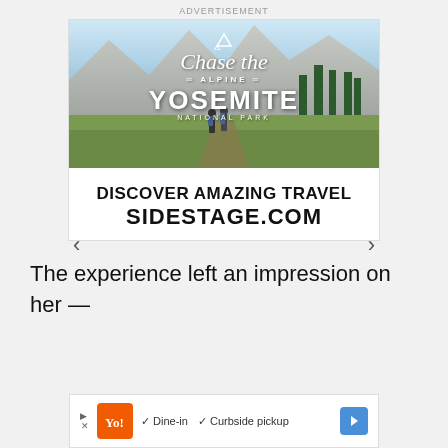ADVERTISEMENT
[Figure (photo): Travel advertisement showing Yosemite National Park scenic photo with mountains, meadow, and hikers, overlaid with text 'Chase the ALPINE YOSEMITE NATIONAL PARK'. Navigation arrows on sides. Below: DISCOVER AMAZING TRAVEL SIDESTAGE.COM]
The experience left an impression on her —
[Figure (other): Bottom banner advertisement with Yelp logo, checkmarks for Dine-in and Curbside pickup, navigation arrow icon, play and close controls]